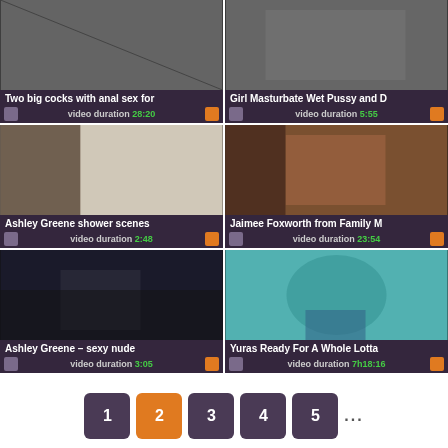[Figure (screenshot): Video thumbnail grid with 6 video entries showing titles and durations]
Two big cocks with anal sex for — video duration 28:20
Girl Masturbate Wet Pussy and D — video duration 5:55
Ashley Greene shower scenes — video duration 2:48
Jaimee Foxworth from Family M — video duration 23:54
Ashley Greene – sexy nude — video duration 3:05
Yuras Ready For A Whole Lotta — video duration 7h18:16
Pagination: 1 2 3 4 5 ...